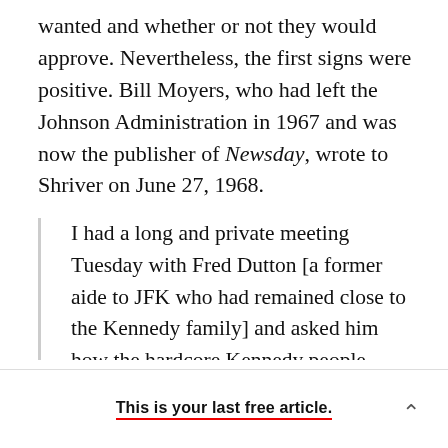wanted and whether or not they would approve. Nevertheless, the first signs were positive. Bill Moyers, who had left the Johnson Administration in 1967 and was now the publisher of Newsday, wrote to Shriver on June 27, 1968.
I had a long and private meeting Tuesday with Fred Dutton [a former aide to JFK who had remained close to the Kennedy family] and asked him how the hardcore Kennedy people would react to you as Vice President. I went over the reasons why your selection
This is your last free article.